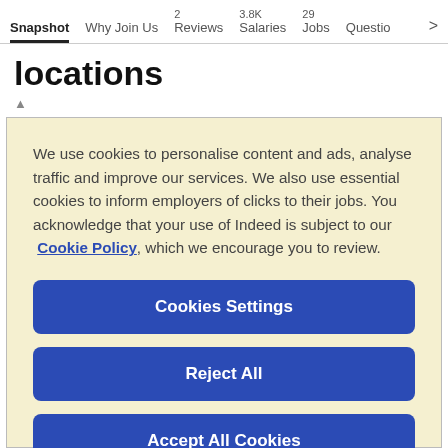Snapshot | Why Join Us | 2 Reviews | 3.8K Salaries | 29 Jobs | Questio >
locations
We use cookies to personalise content and ads, analyse traffic and improve our services. We also use essential cookies to inform employers of clicks to their jobs. You acknowledge that your use of Indeed is subject to our Cookie Policy, which we encourage you to review.
Cookies Settings
Reject All
Accept All Cookies